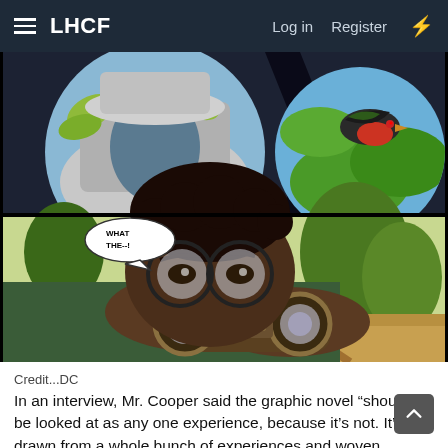LHCF  Log in  Register
[Figure (illustration): Comic book panels showing circular vignettes of a man in a hat with leaves and a bird in flight at top, and below a man with curly hair and glasses holding binoculars up to his face with a speech bubble reading 'WHAT THE--!' against a background of trees and a fence.]
Credit...DC
In an interview, Mr. Cooper said the graphic novel “shouldn’t be looked at as any one experience, because it’s not. It’s drawn from a whole bunch of experiences and woven together from that — my own and the ones we keep hearing from news reports."